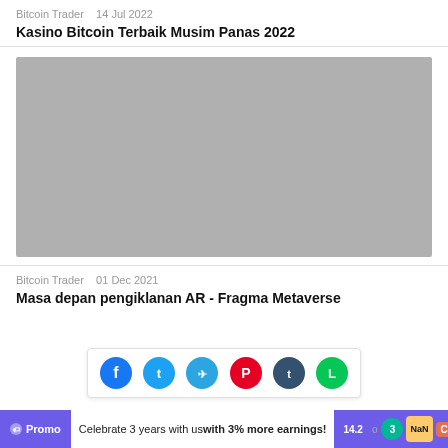Bitcoin Trader   14 Jul 2022
Kasino Bitcoin Terbaik Musim Panas 2022
[Figure (photo): Large gray placeholder image for an article]
Bitcoin Trader   01 Dec 2021
Masa depan pengiklanan AR - Fragma Metaverse
[Figure (other): Social sharing bar with Facebook, Twitter, Telegram, Pinterest, Tumblr, and Line icons]
Promo   Celebrate 3 years with us with 3% more earnings!   14.2   o   3   x